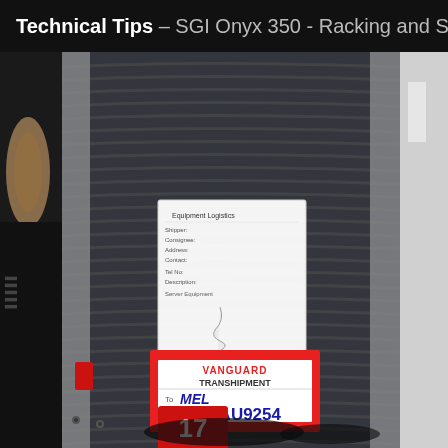Technical Tips – SGI Onyx 350 - Racking and Stacking
[Figure (photo): A large server or computer equipment wrapped in black plastic stretch wrap on a pallet, with a white shipping label and a red VANGUARD TRANSHIPMENT label visible. The red label shows 'To: MEL' and handwritten '7, BEAU9254'. A red tag with '17' is attached at the bottom. Cables and other equipment are partially visible on the left side.]